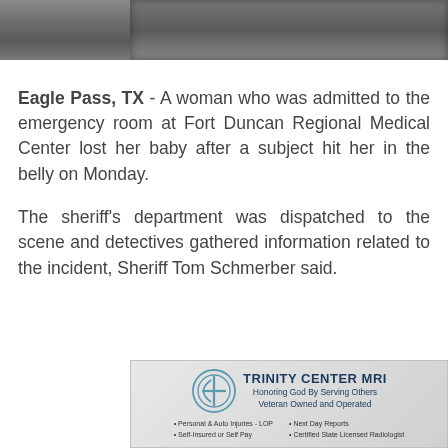[Figure (photo): Grainy dark grey textured background photo at top of page]
Eagle Pass, TX - A woman who was admitted to the emergency room at Fort Duncan Regional Medical Center lost her baby after a subject hit her in the belly on Monday.
The sheriff's department was dispatched to the scene and detectives gathered information related to the incident, Sheriff Tom Schmerber said.
[Figure (logo): Trinity Center MRI advertisement with circular logo. Text: TRINITY CENTER MRI, Honoring God By Serving Others, Veteran Owned and Operated. Bullets: Personal & Auto Injuries - LOP, Self-Insured or Self Pay, Next Day Reports, Certified State Licensed Radiologist]